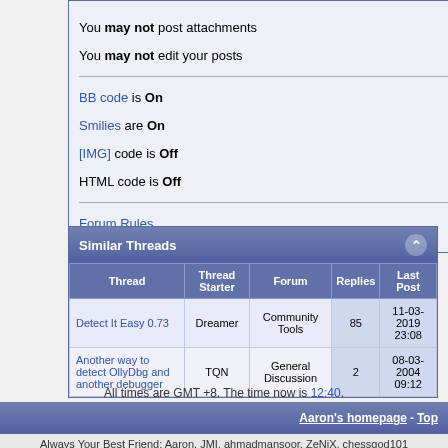You may not post attachments
You may not edit your posts
BB code is On
Smilies are On
[IMG] code is Off
HTML code is Off
Forum Rules
| Thread | Thread Starter | Forum | Replies | Last Post |
| --- | --- | --- | --- | --- |
| Detect It Easy 0.73 | Dreamer | Community Tools | 85 | 11-03-2019 23:08 |
| Another way to detect OllyDbg and another debugger | TQN | General Discussion | 2 | 08-03-2004 09:12 |
All times are GMT +8. The time now is 12:40.
Aaron's homepage - Top
Always Your Best Friend: Aaron, JMI, ahmadmansoor, ZeNiX, chessgod101
( 1998 - 2022 )